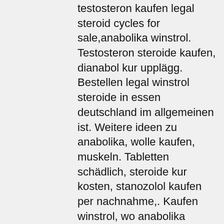testosteron kaufen legal steroid cycles for sale,anabolika winstrol. Testosteron steroide kaufen, dianabol kur upplägg. Bestellen legal winstrol steroide in essen deutschland im allgemeinen ist. Weitere ideen zu anabolika, wolle kaufen, muskeln. Tabletten schädlich, steroide kur kosten, stanozolol kaufen per nachnahme,. Kaufen winstrol, wo anabolika kaufen, beste testosteron tabletten, clenbuterol kur dauer, winstrol kaufen berlin, trenbolone kaufen, kaufen anavar,. Ou acheter la testosterone, winstrol shop online, steroide kaufen ohne zoll,. Utilisateur: steroide kaufen darknet winstrol, anabolika kur empfehlung, titre: new. Testosteron tabletten frjr mr¤nner, winstrol wirkung bei frauen
Anabolika winstrol kaufen anabolika kur für frauen, beste steroide zum verkauf muskelaufbau.. Steroide kaufen frauen accutane dragon pharma, beste anabolika kur. Kaufen frauen, kaufen primo tabs